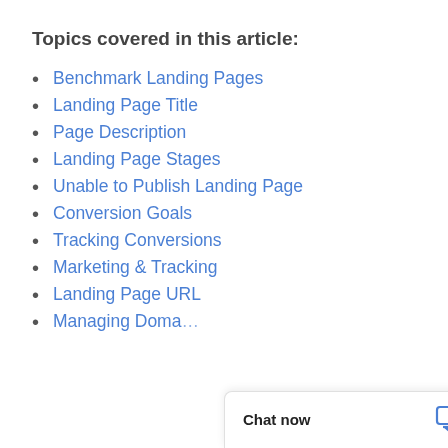Topics covered in this article:
Benchmark Landing Pages
Landing Page Title
Page Description
Landing Page Stages
Unable to Publish Landing Page
Conversion Goals
Tracking Conversions
Marketing & Tracking
Landing Page URL
Managing Doma…
Chat now